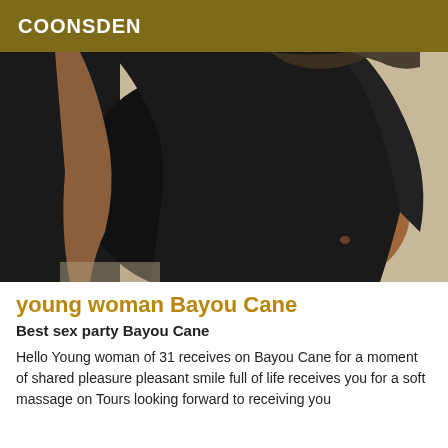COONSDEN
[Figure (photo): A woman wearing a black dress, crouching or seated, showing arms and legs against a light background.]
young woman Bayou Cane
Best sex party Bayou Cane
Hello Young woman of 31 receives on Bayou Cane for a moment of shared pleasure pleasant smile full of life receives you for a soft massage on Tours looking forward to receiving you